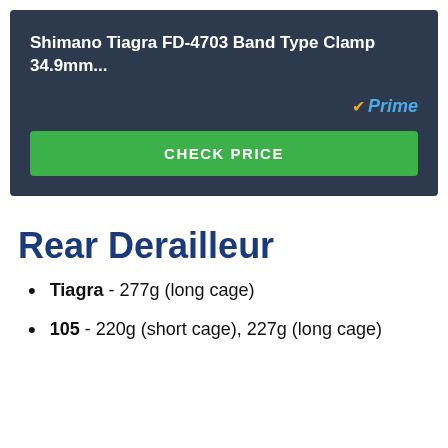Shimano Tiagra FD-4703 Band Type Clamp 34.9mm...
[Figure (other): Amazon Prime badge with orange checkmark and blue italic Prime text]
CHECK PRICE
Rear Derailleur
Tiagra - 277g (long cage)
105 - 220g (short cage), 227g (long cage)